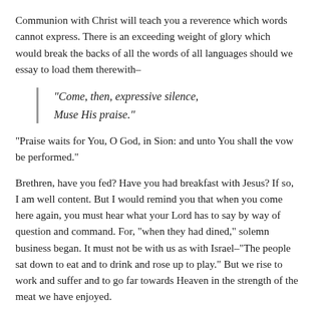Communion with Christ will teach you a reverence which words cannot express. There is an exceeding weight of glory which would break the backs of all the words of all languages should we essay to load them therewith–
“Come, then, expressive silence, Muse His praise.”
“Praise waits for You, O God, in Sion: and unto You shall the vow be performed.”
Brethren, have you fed? Have you had breakfast with Jesus? If so, I am well content. But I would remind you that when you come here again, you must hear what your Lord has to say by way of question and command. For, “when they had dined,” solemn business began. It must not be with us as with Israel–“The people sat down to eat and to drink and rose up to play.” But we rise to work and suffer and to go far towards Heaven in the strength of the meat we have enjoyed.
Someone will ask, “Have you not a word for the unconverted this morning?” Indeed, I have something better than words. When we set forth the ministry of Divine Grace before the called, we are calling in its